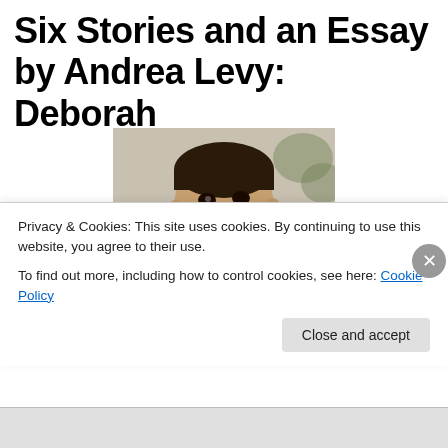Six Stories and an Essay by Andrea Levy: Deborah
[Figure (photo): Book cover of 'Six Stories and an Essay' by Andrea Levy, showing a young child wearing a yellow turtleneck sweater, with the book title written in white cursive script overlaid on the image.]
Privacy & Cookies: This site uses cookies. By continuing to use this website, you agree to their use.
To find out more, including how to control cookies, see here: Cookie Policy
Close and accept